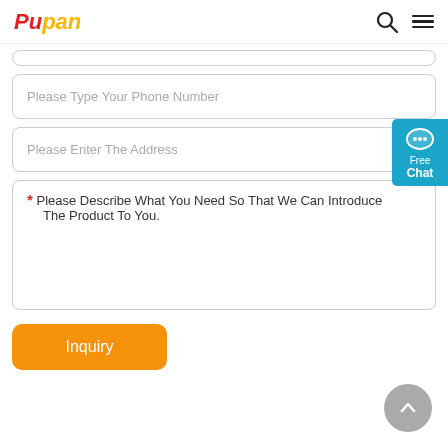Pupan
Please Type Your Phone Number
Please Enter The Address
* Please Describe What You Need So That We Can Introduce The Product To You.
Free Chat
Inquiry